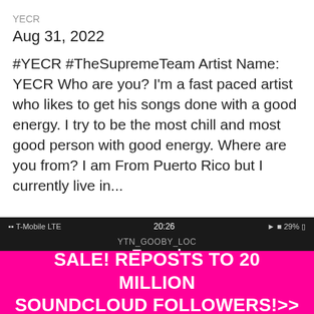YECR
Aug 31, 2022
#YECR #TheSupremeTeam Artist Name: YECR Who are you? I’m a fast paced artist who likes to get his songs done with a good energy. I try to be the most chill and most good person with good energy. Where are you from? I am From Puerto Rico but I currently live in...
[Figure (screenshot): Mobile screenshot showing a social media app with status bar (T-Mobile LTE, 20:26, 29%), back arrow, header showing YTN_GOOBY_LOC / Tagged, and a user entry for girlthatsbr1lly from Junction City, Kansas]
SALE! REPOSTS TO 20 MILLION SOUNDCLOUD FOLLOWERS!>>